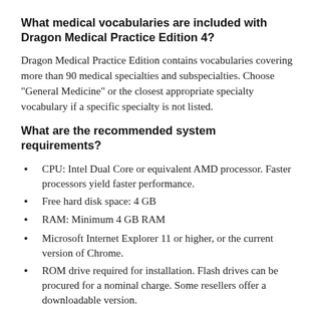What medical vocabularies are included with Dragon Medical Practice Edition 4?
Dragon Medical Practice Edition contains vocabularies covering more than 90 medical specialties and subspecialties. Choose "General Medicine" or the closest appropriate specialty vocabulary if a specific specialty is not listed.
What are the recommended system requirements?
CPU: Intel Dual Core or equivalent AMD processor. Faster processors yield faster performance.
Free hard disk space: 4 GB
RAM: Minimum 4 GB RAM
Microsoft Internet Explorer 11 or higher, or the current version of Chrome.
ROM drive required for installation. Flash drives can be procured for a nominal charge. Some resellers offer a downloadable version.
What operating systems are supported?